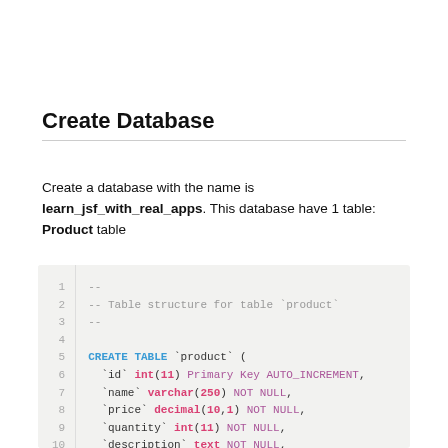Create Database
Create a database with the name is learn_jsf_with_real_apps. This database have 1 table: Product table
[Figure (screenshot): SQL code block showing CREATE TABLE statement for product table with columns: id int(11) Primary Key AUTO_INCREMENT, name varchar(250) NOT NULL, price decimal(10,1) NOT NULL, quantity int(11) NOT NULL, description text NOT NULL, status tinyint(1) NOT NULL]